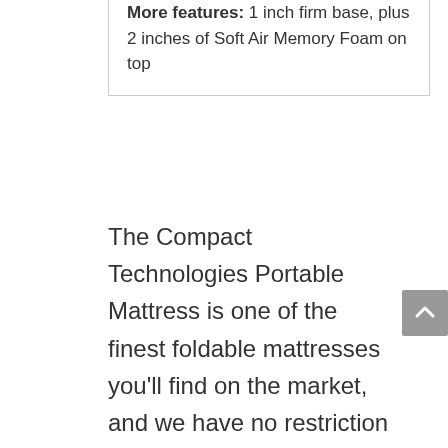More features: 1 inch firm base, plus 2 inches of Soft Air Memory Foam on top
The Compact Technologies Portable Mattress is one of the finest foldable mattresses you'll find on the market, and we have no restriction whatsoever in voting it out editor's choice because of the satisfactory experience it provides. This Compact Technologies Mattress helps you sleep and feel better all through the night with the plenty of support it provides through its firm base and plush air memory foam top. Maybe you have...